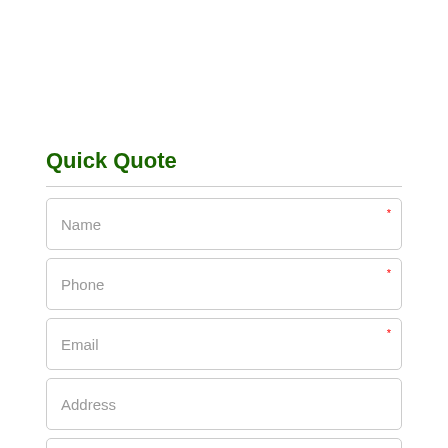Quick Quote
Name (required)
Phone (required)
Email (required)
Address
Service Needed